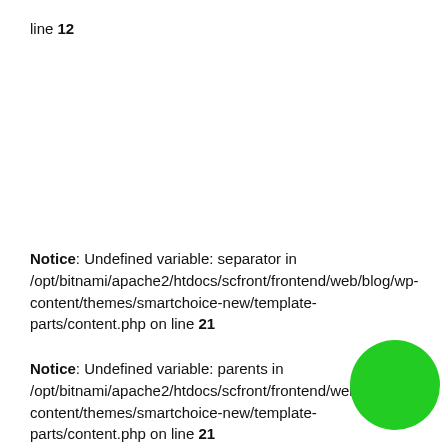line 12
Notice: Undefined variable: separator in /opt/bitnami/apache2/htdocs/scfront/frontend/web/blog/wp-content/themes/smartchoice-new/template-parts/content.php on line 21
Notice: Undefined variable: parents in /opt/bitnami/apache2/htdocs/scfront/frontend/web/blog/wp-content/themes/smartchoice-new/template-parts/content.php on line 21